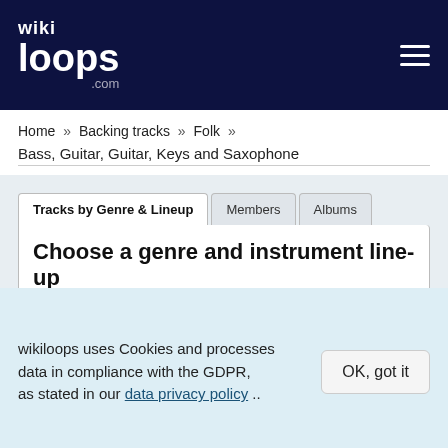[Figure (logo): wikiloops.com logo — white text on dark navy background with hamburger menu icon]
Home » Backing tracks » Folk »
Bass, Guitar, Guitar, Keys and Saxophone
[Figure (screenshot): Tab interface with 'Tracks by Genre & Lineup' (active), 'Members', 'Albums' tabs. Panel shows 'Choose a genre and instrument line-up' with Folk genre selector, Exclude instrument dropdown (red border), and instrument checkboxes: Bass, Guitar, Guitar, Keys, Saxophone, and one empty slot.]
wikiloops uses Cookies and processes data in compliance with the GDPR, as stated in our data privacy policy ..